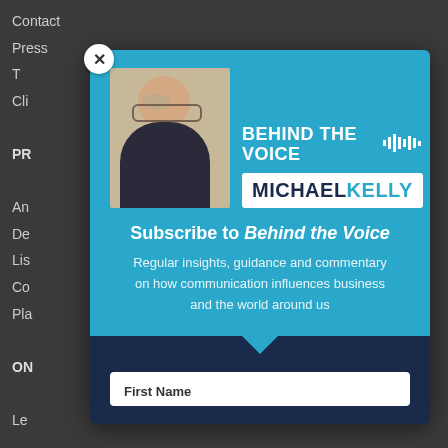Contact
Press
T
Cli
PR
An
De
Lis
Co
Pla
ON
Le
RE
[Figure (screenshot): Close button (X) circle in white on dark background]
[Figure (illustration): Behind the Voice podcast banner with Michael Kelly photo, sound wave graphic, and MICHAEL KELLY logo in white box on teal background]
Subscribe to Behind the Voice
Regular insights, guidance and commentary on how communication influences business and the world around us
First Name